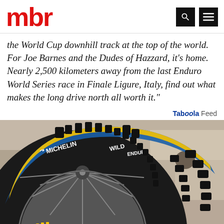mbr
the World Cup downhill track at the top of the world. For Joe Barnes and the Dudes of Hazzard, it's home. Nearly 2,500 kilometers away from the last Enduro World Series race in Finale Ligure, Italy, find out what makes the long drive north all worth it."
Taboola Feed
[Figure (photo): Close-up of a Michelin Wild Enduro mountain bike tire mounted on a wheel, with deep knobby tread pattern, yellow and blue sidewall branding reading MICHELIN WILD ENDURO, against a rocky background.]